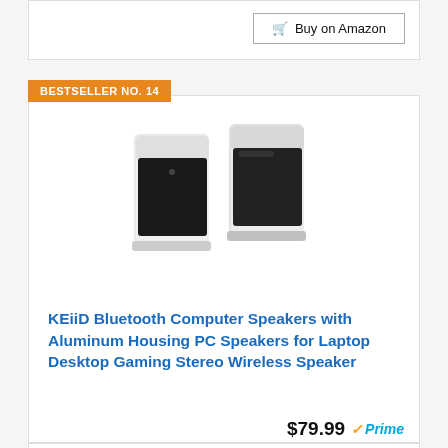Buy on Amazon
BESTSELLER NO. 14
[Figure (photo): Two white and black rectangular Bluetooth computer speakers standing upright side by side]
KEiiD Bluetooth Computer Speakers with Aluminum Housing PC Speakers for Laptop Desktop Gaming Stereo Wireless Speaker
$79.99 Prime